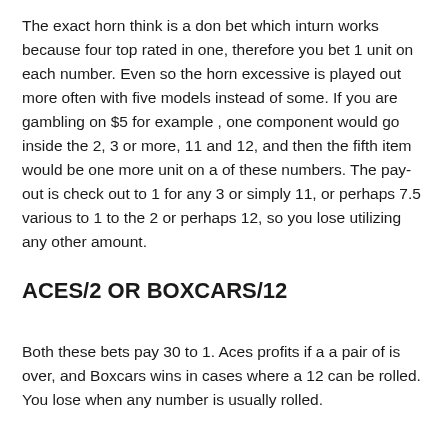The exact horn think is a don bet which inturn works because four top rated in one, therefore you bet 1 unit on each number. Even so the horn excessive is played out more often with five models instead of some. If you are gambling on $5 for example , one component would go inside the 2, 3 or more, 11 and 12, and then the fifth item would be one more unit on a of these numbers. The pay-out is check out to 1 for any 3 or simply 11, or perhaps 7.5 various to 1 to the 2 or perhaps 12, so you lose utilizing any other amount.
ACES/2 OR BOXCARS/12
Both these bets pay 30 to 1. Aces profits if a a pair of is over, and Boxcars wins in cases where a 12 can be rolled. You lose when any number is usually rolled.